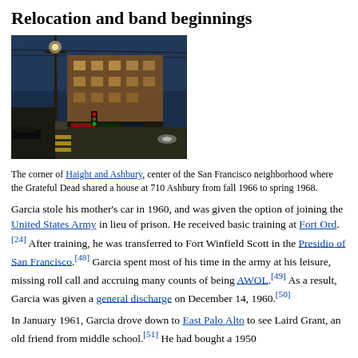Relocation and band beginnings
[Figure (photo): Night/dusk street scene at the corner of Haight and Ashbury in San Francisco. A multi-story Victorian apartment building is visible, along with street lights, traffic signals, power lines, and a pedestrian crosswalk.]
The corner of Haight and Ashbury, center of the San Francisco neighborhood where the Grateful Dead shared a house at 710 Ashbury from fall 1966 to spring 1968.
Garcia stole his mother's car in 1960, and was given the option of joining the United States Army in lieu of prison. He received basic training at Fort Ord.[24] After training, he was transferred to Fort Winfield Scott in the Presidio of San Francisco.[48] Garcia spent most of his time in the army at his leisure, missing roll call and accruing many counts of being AWOL.[49] As a result, Garcia was given a general discharge on December 14, 1960.[50]
In January 1961, Garcia drove down to East Palo Alto to see Laird Grant, an old friend from middle school.[51] He had bought a 1950